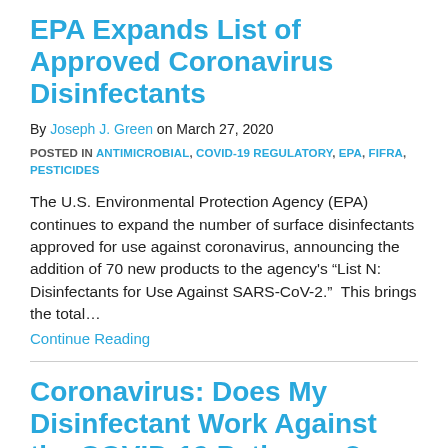EPA Expands List of Approved Coronavirus Disinfectants
By Joseph J. Green on March 27, 2020
POSTED IN ANTIMICROBIAL, COVID-19 REGULATORY, EPA, FIFRA, PESTICIDES
The U.S. Environmental Protection Agency (EPA) continues to expand the number of surface disinfectants approved for use against coronavirus, announcing the addition of 70 new products to the agency's “List N: Disinfectants for Use Against SARS-CoV-2.”  This brings the total…
Continue Reading
Coronavirus: Does My Disinfectant Work Against the COVID-19 Pathogen?